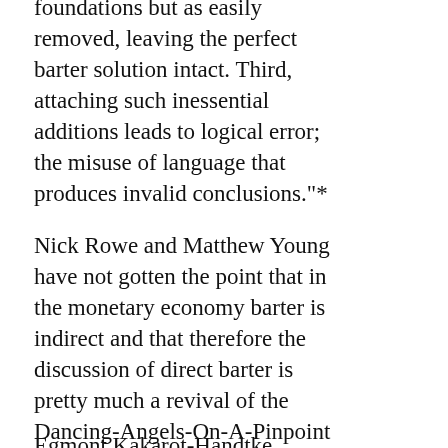foundations but as easily removed, leaving the perfect barter solution intact. Third, attaching such inessential additions leads to logical error; the misuse of language that produces invalid conclusions."*
Nick Rowe and Matthew Young have not gotten the point that in the monetary economy barter is indirect and that therefore the discussion of direct barter is pretty much a revival of the Dancing-Angels-On-A-Pinpoint disputations of the Middle Ages.
Egmont Kakarot-Handtke